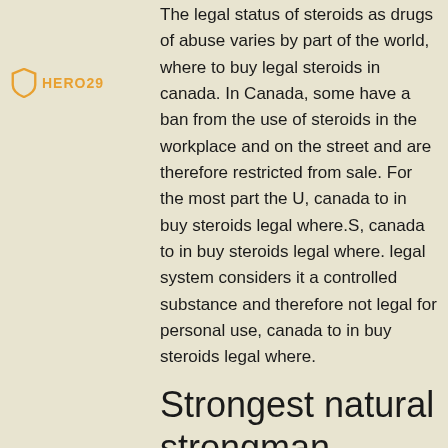HERO29
The legal status of steroids as drugs of abuse varies by part of the world, where to buy legal steroids in canada. In Canada, some have a ban from the use of steroids in the workplace and on the street and are therefore restricted from sale. For the most part the U, canada to in buy steroids legal where.S, canada to in buy steroids legal where. legal system considers it a controlled substance and therefore not legal for personal use, canada to in buy steroids legal where.
Strongest natural strongman
In fact, it appears to be one of the strongest anabolic steroids in this regard. But why does it happen and what is it about the effects of this steroid that are so strong? The answer will shock you, steroids and oxygen saturation.